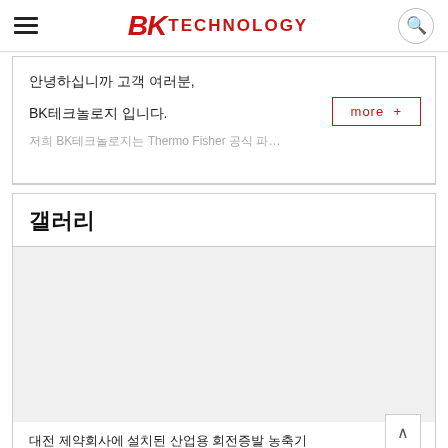BK TECHNOLOGY
안녕하십니까 고객 여러분,
BK테크놀로지 입니다.
저희 BK테크놀로지는 Thermo Fisher 공식 파트너 업체로서
갤러리
[Figure (photo): Gallery image area - light gray placeholder for a product or installation photo]
대전 제약회사에 설치된 산업용 회전증발 농축기